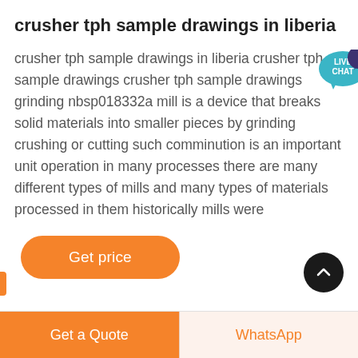crusher tph sample drawings in liberia
crusher tph sample drawings in liberia crusher tph sample drawings crusher tph sample drawings grinding nbsp018332a mill is a device that breaks solid materials into smaller pieces by grinding crushing or cutting such comminution is an important unit operation in many processes there are many different types of mills and many types of materials processed in them historically mills were
[Figure (other): Orange rounded rectangle button labeled 'Get price' in white text]
Get a Quote   WhatsApp